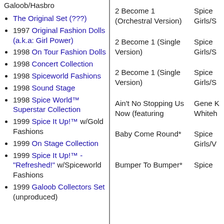Galoob/Hasbro
The Original Set (???)
1997 Original Fashion Dolls (a.k.a: Girl Power)
1998 On Tour Fashion Dolls
1998 Concert Collection
1998 Spiceworld Fashions
1998 Sound Stage
1998 Spice World™ Superstar Collection
1999 Spice It Up!™ w/Gold Fashions
1999 On Stage Collection
1999 Spice It Up!™ - "Refreshed!" w/Spiceworld Fashions
1999 Galoob Collectors Set (unproduced)
2 Become 1 (Orchestral Version)   Spice Girls/S
2 Become 1 (Single Version)   Spice Girls/S
2 Become 1 (Single Version)   Spice Girls/S
Ain't No Stopping Us Now (featuring   Gene K Whiteh
Baby Come Round*   Spice Girls/V
Bumper To Bumper*   Spice